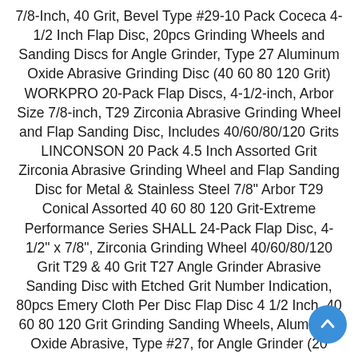7/8-Inch, 40 Grit, Bevel Type #29-10 Pack Coceca 4-1/2 Inch Flap Disc, 20pcs Grinding Wheels and Sanding Discs for Angle Grinder, Type 27 Aluminum Oxide Abrasive Grinding Disc (40 60 80 120 Grit) WORKPRO 20-Pack Flap Discs, 4-1/2-inch, Arbor Size 7/8-inch, T29 Zirconia Abrasive Grinding Wheel and Flap Sanding Disc, Includes 40/60/80/120 Grits LINCONSON 20 Pack 4.5 Inch Assorted Grit Zirconia Abrasive Grinding Wheel and Flap Sanding Disc for Metal & Stainless Steel 7/8" Arbor T29 Conical Assorted 40 60 80 120 Grit-Extreme Performance Series SHALL 24-Pack Flap Disc, 4-1/2" x 7/8", Zirconia Grinding Wheel 40/60/80/120 Grit T29 & 40 Grit T27 Angle Grinder Abrasive Sanding Disc with Etched Grit Number Indication, 80pcs Emery Cloth Per Disc Flap Disc 4 1/2 Inch, 40 60 80 120 Grit Grinding Sanding Wheels, Aluminum Oxide Abrasive, Type #27, for Angle Grinder (20 Pack) SHALL 24-Pack Flap Disc, 4-1/2" x 7/8", Zirconia Grinding Wheel 40/60/80/120 Grit T29 & 40 Grit T27